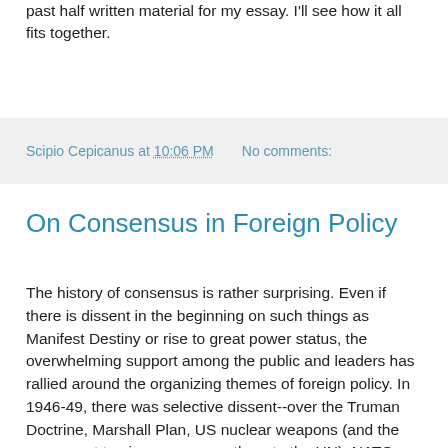past half written material for my essay. I'll see how it all fits together.
Scipio Cepicanus at 10:06 PM   No comments:
On Consensus in Foreign Policy
The history of consensus is rather surprising. Even if there is dissent in the beginning on such things as Manifest Destiny or rise to great power status, the overwhelming support among the public and leaders has rallied around the organizing themes of foreign policy. In 1946-49, there was selective dissent--over the Truman Doctrine, Marshall Plan, US nuclear weapons (and the movement to give power over them to the UN), NATO and Korea. The overwhelming consensus emerged to commit to the ideological struggle and to fight it with containment. The consensus theme in American foreign policy suffered its first "post-consensus" split when containment was not prudently applied in SE Asia and the policy of detente partly replaced the aggressive form